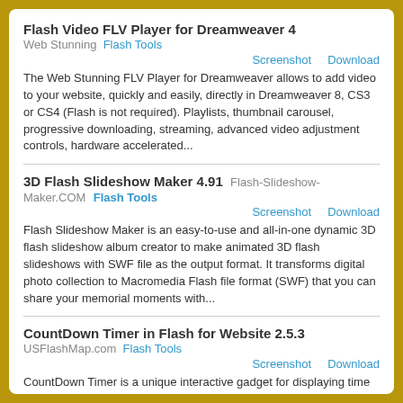Flash Video FLV Player for Dreamweaver 4
Web Stunning   Flash Tools
Screenshot   Download
The Web Stunning FLV Player for Dreamweaver allows to add video to your website, quickly and easily, directly in Dreamweaver 8, CS3 or CS4 (Flash is not required). Playlists, thumbnail carousel, progressive downloading, streaming, advanced video adjustment controls, hardware accelerated...
3D Flash Slideshow Maker 4.91   Flash-Slideshow-Maker.COM   Flash Tools
Screenshot   Download
Flash Slideshow Maker is an easy-to-use and all-in-one dynamic 3D flash slideshow album creator to make animated 3D flash slideshows with SWF file as the output format. It transforms digital photo collection to Macromedia Flash file format (SWF) that you can share your memorial moments with...
CountDown Timer in Flash for Website 2.5.3
USFlashMap.com   Flash Tools
Screenshot   Download
CountDown Timer is a unique interactive gadget for displaying time left to important public celebrations, corporate events or personal holidays: birthdays, website launch, upcoming trips, memorable days, etc.CountDown Timer has several easily customizable skins that will suit any website design....